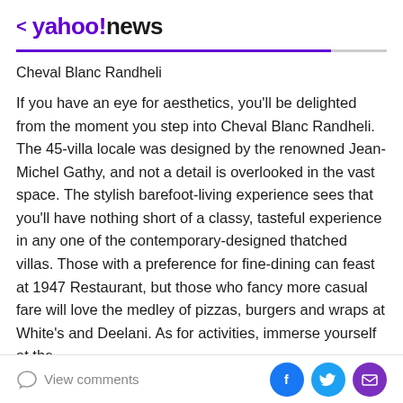< yahoo!news
Cheval Blanc Randheli
If you have an eye for aesthetics, you'll be delighted from the moment you step into Cheval Blanc Randheli. The 45-villa locale was designed by the renowned Jean-Michel Gathy, and not a detail is overlooked in the vast space. The stylish barefoot-living experience sees that you'll have nothing short of a classy, tasteful experience in any one of the contemporary-designed thatched villas. Those with a preference for fine-dining can feast at 1947 Restaurant, but those who fancy more casual fare will love the medley of pizzas, burgers and wraps at White's and Deelani. As for activities, immerse yourself at the
View comments